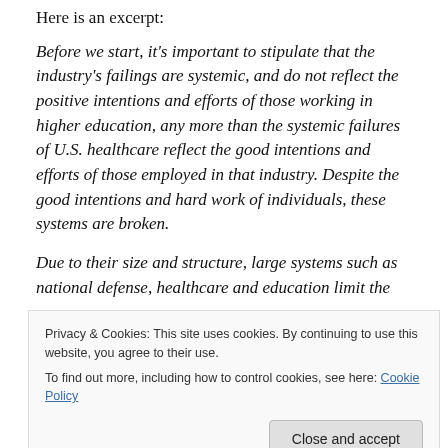Here is an excerpt:
Before we start, it's important to stipulate that the industry's failings are systemic, and do not reflect the positive intentions and efforts of those working in higher education, any more than the systemic failures of U.S. healthcare reflect the good intentions and efforts of those employed in that industry. Despite the good intentions and hard work of individuals, these systems are broken.
Due to their size and structure, large systems such as national defense, healthcare and education limit the
Privacy & Cookies: This site uses cookies. By continuing to use this website, you agree to their use.
To find out more, including how to control cookies, see here: Cookie Policy
actions of indi responsible. Present consequences